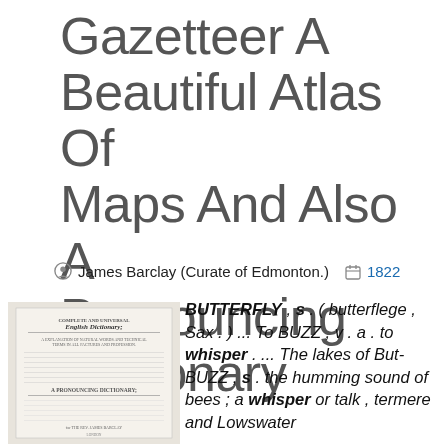Gazetteer A Beautiful Atlas Of Maps And Also A Pronouncing Dictionary
James Barclay (Curate of Edmonton.)  1822
[Figure (photo): Scanned title page of a book: 'Complete and Universal English Dictionary' by the Rev. James Barclay, showing text of dictionary entries]
BUTTERFLY , s . ( butterflege , Sax . ) ... To BUZZ , v . a . to whisper . ... The lakes of But- BUZZ , s . the humming sound of bees ; a whisper or talk , termere and Lowswater